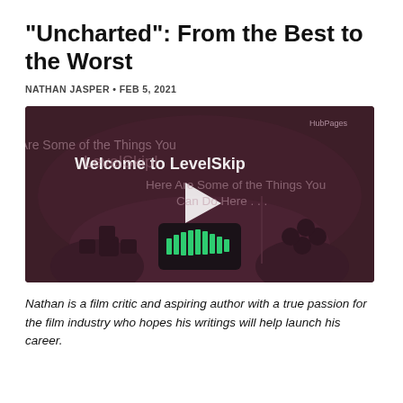"Uncharted": From the Best to the Worst
NATHAN JASPER • FEB 5, 2021
[Figure (screenshot): Video thumbnail showing a dark burgundy/maroon background with a stylized game controller graphic. Text overlay reads 'Welcome to LevelSkip' in white and 'Here Are Some of the Things You Can Do Here...' in lighter text. A white play button triangle is centered. HubPages watermark in top right.]
Nathan is a film critic and aspiring author with a true passion for the film industry who hopes his writings will help launch his career.